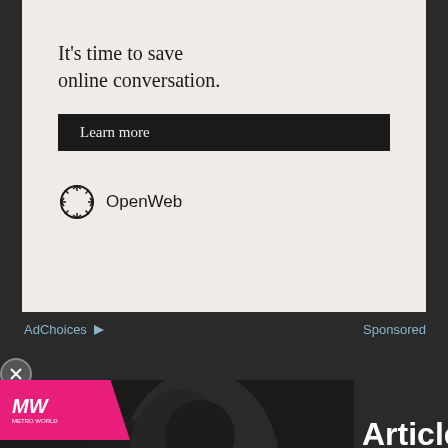[Figure (screenshot): OpenWeb advertisement banner with text 'It's time to save online conversation.' and a 'Learn more' button, with OpenWeb logo at bottom]
AdChoices ▷
Sponsored
[Figure (screenshot): Video thumbnail for 'Best Retro Switch Games' from Metro World (MW) with a play button overlay and two characters from video game]
Articles
[Figure (screenshot): Moonbreaker game promotional image with colorful space art and 'MOONBREAKER' logo text]